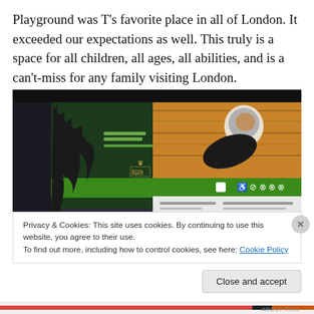Playground was T's favorite place in all of London. It exceeded our expectations as well. This truly is a space for all children, all ages, all abilities, and is a can't-miss for any family visiting London.
[Figure (photo): Photo of a sign for The Diana Princess of Wales Memorial Playground with General Information text, showing a child in a grey hoodie climbing wooden logs, and a green information bar with accessibility icons at the bottom.]
Privacy & Cookies: This site uses cookies. By continuing to use this website, you agree to their use.
To find out more, including how to control cookies, see here: Cookie Policy
Close and accept